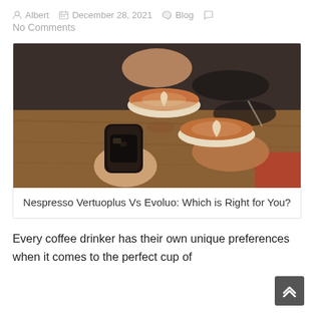Albert  December 28, 2021  Blog  No Comments
[Figure (photo): Three hands holding coffee drinks together — two latte art cups and one iced black coffee, seen from above over a wooden table]
Nespresso Vertuoplus Vs Evoluo: Which is Right for You?
Every coffee drinker has their own unique preferences when it comes to the perfect cup of